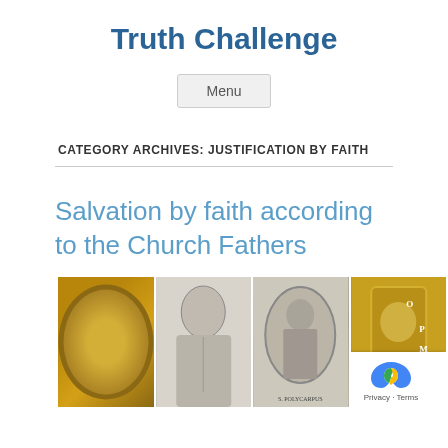Truth Challenge
Menu
CATEGORY ARCHIVES: JUSTIFICATION BY FAITH
Salvation by faith according to the Church Fathers
[Figure (illustration): Four images of Church Fathers: a gold mosaic icon of a saint in oval frame, a black and white engraving of a bearded apostle, an oval engraving labeled S. POLYCARPUS of a standing figure, and a gold Byzantine mosaic with text. A reCAPTCHA overlay appears in the lower right corner.]